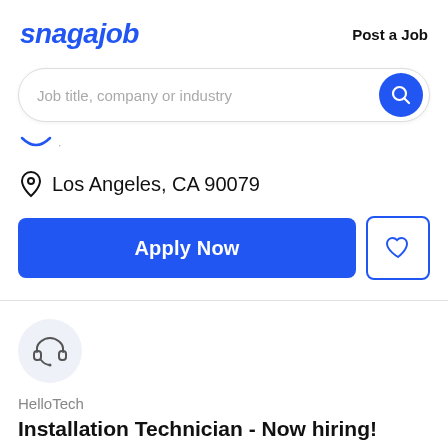snagajob — Post a Job
[Figure (screenshot): Search bar with placeholder text 'Job title, company or industry' and a blue circular search button]
[Figure (other): Dropdown chevron/arrow icon indicating a collapsible filter section]
Los Angeles, CA 90079
[Figure (other): Apply Now blue button and a heart/save outline button]
[Figure (other): HelloTech company logo icon (headset/headphones icon in a light gray circle)]
HelloTech
Installation Technician - Now hiring!